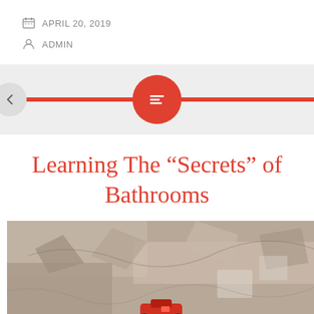APRIL 20, 2019
ADMIN
[Figure (other): Red divider bar with centered red circle containing a lines/text icon, and a grey back-arrow circle on the left]
Learning The “Secrets” of Bathrooms
[Figure (photo): Construction or renovation scene showing a bathroom with rubble, tile work, and a red power tool on the floor]